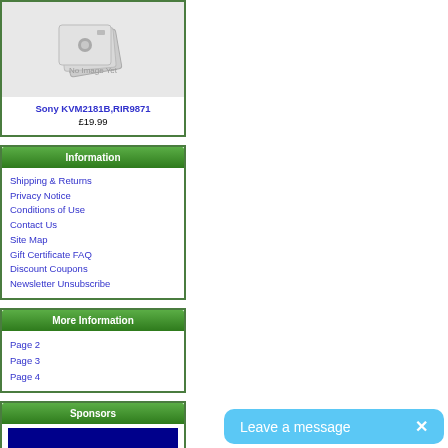[Figure (photo): No Image Yet placeholder with stacked photo icons]
Sony KVM2181B,RIR9871
£19.99
Information
Shipping & Returns
Privacy Notice
Conditions of Use
Contact Us
Site Map
Gift Certificate FAQ
Discount Coupons
Newsletter Unsubscribe
More Information
Page 2
Page 3
Page 4
Sponsors
[Figure (other): Blue sponsor banner]
Leave a message